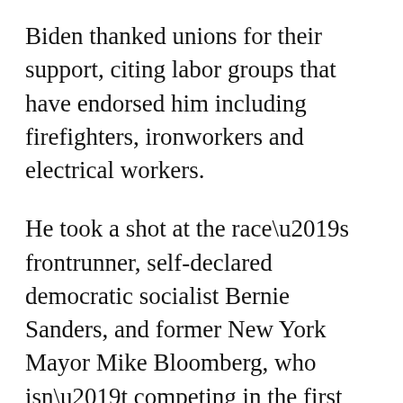Biden thanked unions for their support, citing labor groups that have endorsed him including firefighters, ironworkers and electrical workers.
He took a shot at the race’s frontrunner, self-declared democratic socialist Bernie Sanders, and former New York Mayor Mike Bloomberg, who isn’t competing in the first four states but has spent hundreds of millions of dollars of his own fortune hoping to pick up delegates starting on Super Tuesday.
“I ain’t a socialist. I ain’t a plutocrat,” Biden said. “I’m a Democrat. And I’m proud of it.”